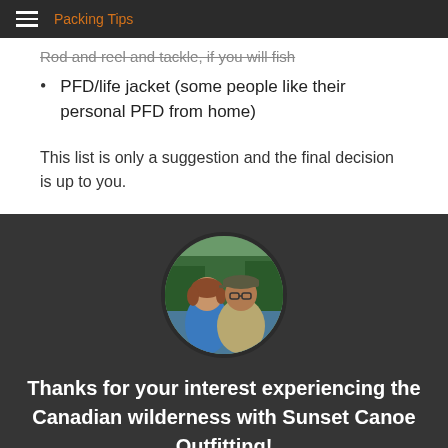Packing Tips
Rod and reel and tackle, if you will fish
PFD/life jacket (some people like their personal PFD from home)
This list is only a suggestion and the final decision is up to you.
[Figure (photo): Circular portrait photo of a couple — a woman in a blue top and a man in a khaki shirt and cap — outdoors near water with green trees in the background.]
Thanks for your interest experiencing the Canadian wilderness with Sunset Canoe Outfitting!